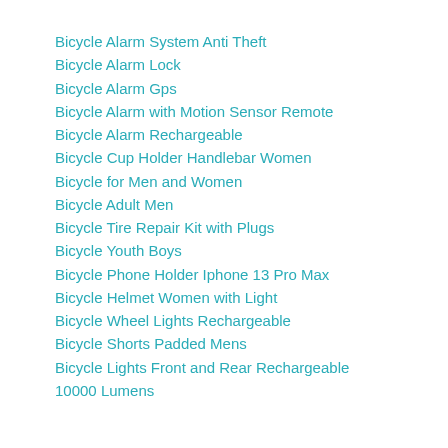Bicycle Alarm System Anti Theft
Bicycle Alarm Lock
Bicycle Alarm Gps
Bicycle Alarm with Motion Sensor Remote
Bicycle Alarm Rechargeable
Bicycle Cup Holder Handlebar Women
Bicycle for Men and Women
Bicycle Adult Men
Bicycle Tire Repair Kit with Plugs
Bicycle Youth Boys
Bicycle Phone Holder Iphone 13 Pro Max
Bicycle Helmet Women with Light
Bicycle Wheel Lights Rechargeable
Bicycle Shorts Padded Mens
Bicycle Lights Front and Rear Rechargeable 10000 Lumens